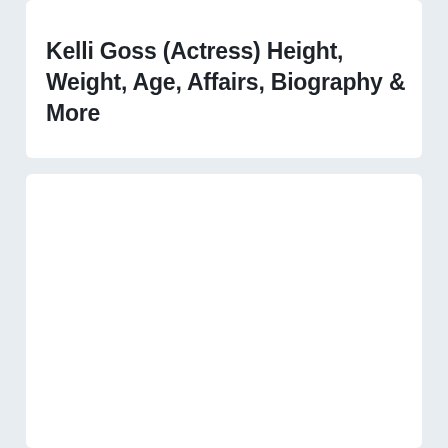Kelli Goss (Actress) Height, Weight, Age, Affairs, Biography & More
[Figure (photo): Empty white card placeholder area below the title card]